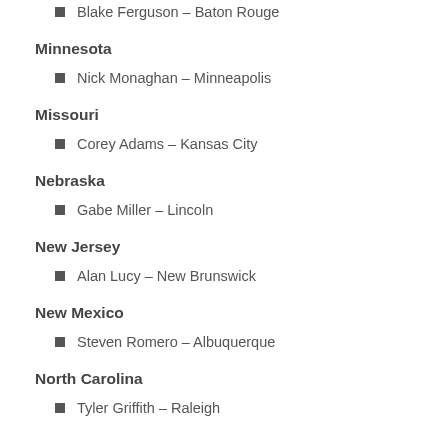Blake Ferguson – Baton Rouge
Minnesota
Nick Monaghan – Minneapolis
Missouri
Corey Adams – Kansas City
Nebraska
Gabe Miller – Lincoln
New Jersey
Alan Lucy – New Brunswick
New Mexico
Steven Romero – Albuquerque
North Carolina
Tyler Griffith – Raleigh